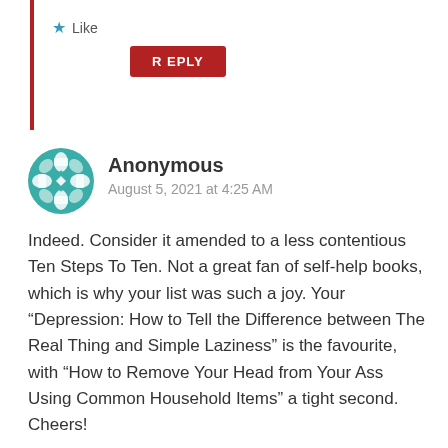Like
REPLY
Anonymous
August 5, 2021 at 4:25 AM
Indeed. Consider it amended to a less contentious Ten Steps To Ten. Not a great fan of self-help books, which is why your list was such a joy. Your “Depression: How to Tell the Difference between The Real Thing and Simple Laziness” is the favourite, with “How to Remove Your Head from Your Ass Using Common Household Items” a tight second. Cheers!
Liked by 1 person
REPLY